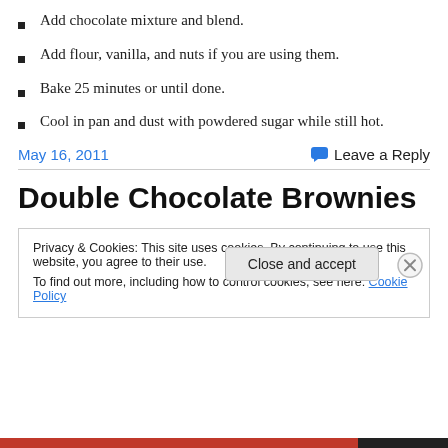Add chocolate mixture and blend.
Add flour, vanilla, and nuts if you are using them.
Bake 25 minutes or until done.
Cool in pan and dust with powdered sugar while still hot.
May 16, 2011    Leave a Reply
Double Chocolate Brownies
Privacy & Cookies: This site uses cookies. By continuing to use this website, you agree to their use. To find out more, including how to control cookies, see here: Cookie Policy